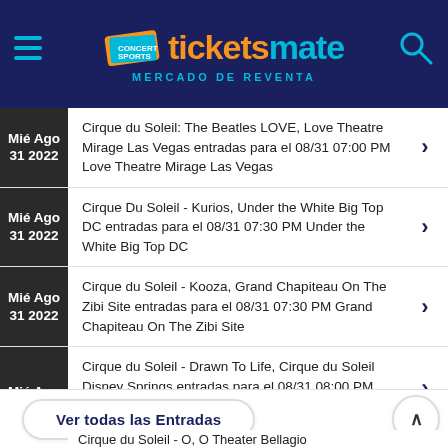[Figure (logo): TicketsMate logo with ticket icon and text 'MERCADO DE REVENTA' on dark blue header background]
Mié Ago 31 2022 — Cirque du Soleil: The Beatles LOVE, Love Theatre Mirage Las Vegas entradas para el 08/31 07:00 PM Love Theatre Mirage Las Vegas
Mié Ago 31 2022 — Cirque Du Soleil - Kurios, Under the White Big Top DC entradas para el 08/31 07:30 PM Under the White Big Top DC
Mié Ago 31 2022 — Cirque du Soleil - Kooza, Grand Chapiteau On The Zibi Site entradas para el 08/31 07:30 PM Grand Chapiteau On The Zibi Site
Mié Ago 31 2022 — Cirque du Soleil - Drawn To Life, Cirque du Soleil Disney Springs entradas para el 08/31 08:00 PM Cirque du Soleil Disney
Ver todas las Entradas
Cirque du Soleil - O, O Theater Bellagio